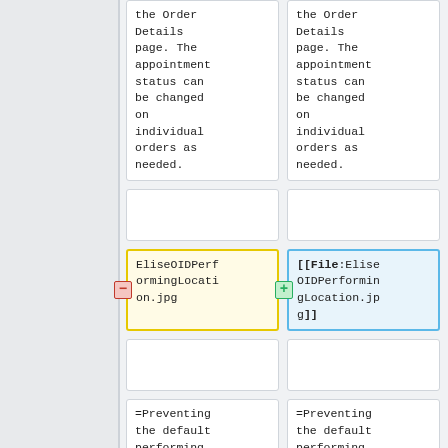| (old) | (new) |
| --- | --- |
| the Order Details page. The appointment status can be changed on individual orders as needed. | the Order Details page. The appointment status can be changed on individual orders as needed. |
|  |  |
| EliseOIDPerformingLocation.jpg | [[File:EliseOIDPerformingLocation.jpg]] |
|  |  |
| =Preventing the default performing | =Preventing the default performing |